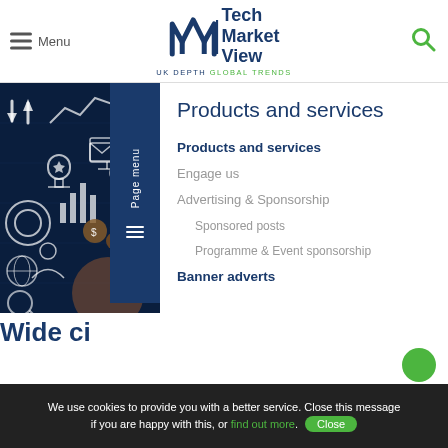Menu | TechMarketView UK DEPTH GLOBAL TRENDS
[Figure (screenshot): TechMarketView website screenshot showing a dark blue technology icons collage image on the left with a 'Page menu' sidebar button, and navigation menu on the right.]
Products and services
Products and services
Engage us
Advertising & Sponsorship
Sponsored posts
Programme & Event sponsorship
Banner adverts
Wide ci
We use cookies to provide you with a better service. Close this message if you are happy with this, or find out more. Close